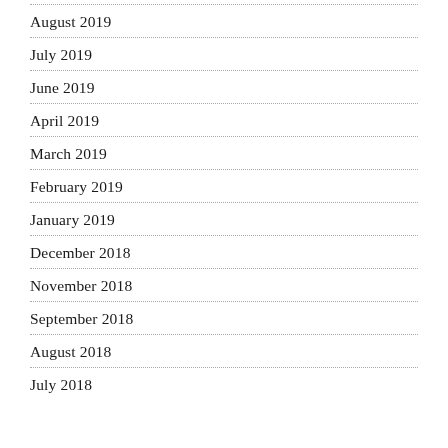August 2019
July 2019
June 2019
April 2019
March 2019
February 2019
January 2019
December 2018
November 2018
September 2018
August 2018
July 2018